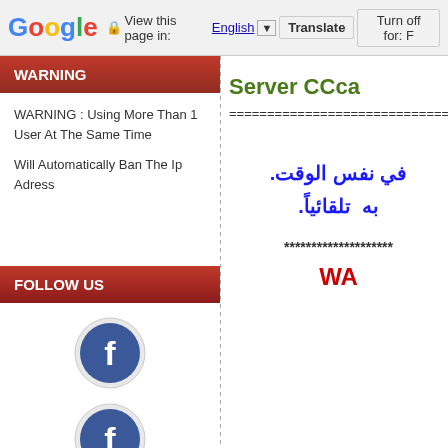Google | View this page in: English | Translate | Turn off for: F
WARNING
WARNING : Using More Than 1 User At The Same Time
Will Automatically Ban The Ip Adress
FOLLOW US
[Figure (illustration): Facebook circular social media icon (blue F on white/grey circle background)]
[Figure (illustration): Facebook circular social media icon (blue F on white/grey circle background)]
[Figure (illustration): Twitter circular social media icon (blue bird on white/grey circle background), partially visible]
Server CCca
================================
في نفس الوقت. به  تلقائياً.
********************
WA